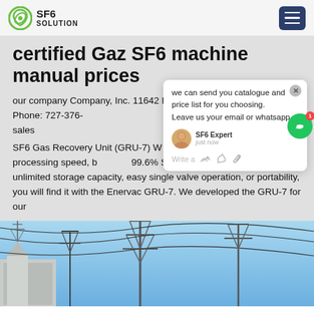SF6 SOLUTION
certified Gaz SF6 machine manual prices
our company Company, Inc. 11642 Pyramid Drive Odessa, FL 33556 Phone: 727-376- sales
SF6 Gas Recovery Unit (GRU-7) W looking for fast processing speed, b 99.6% SF6 recovery, a 100% o unlimited storage capacity, easy single valve operation, or portability, you will find it with the Enervac GRU-7. We developed the GRU-7 for our
[Figure (photo): Electrical transmission towers and power lines against a blue sky, with a building structure visible on the left side.]